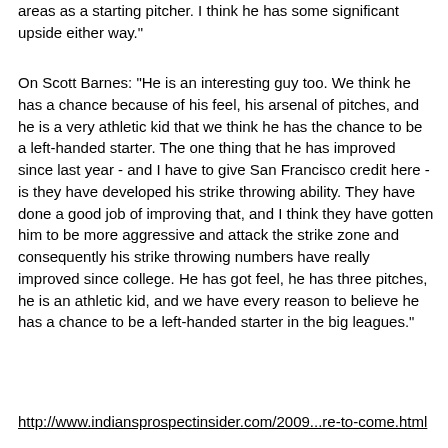areas as a starting pitcher. I think he has some significant upside either way."
On Scott Barnes: "He is an interesting guy too. We think he has a chance because of his feel, his arsenal of pitches, and he is a very athletic kid that we think he has the chance to be a left-handed starter. The one thing that he has improved since last year - and I have to give San Francisco credit here - is they have developed his strike throwing ability. They have done a good job of improving that, and I think they have gotten him to be more aggressive and attack the strike zone and consequently his strike throwing numbers have really improved since college. He has got feel, he has three pitches, he is an athletic kid, and we have every reason to believe he has a chance to be a left-handed starter in the big leagues."
http://www.indiansprospectinsider.com/2009...re-to-come.html